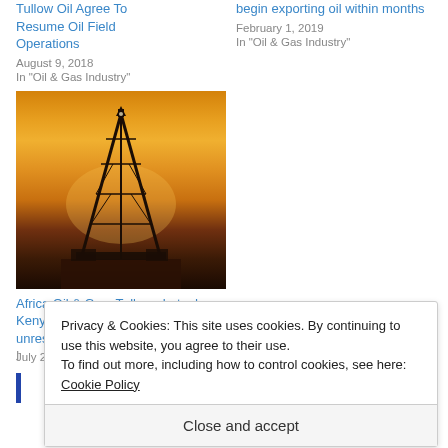Tullow Oil Agree To Resume Oil Field Operations
August 9, 2018
In "Oil & Gas Industry"
begin exporting oil within months
February 1, 2019
In "Oil & Gas Industry"
[Figure (photo): Oil drilling rig silhouetted against a sunset sky with orange and amber tones]
Africa Oil & Gas: Tullow shuts down Kenyan oilfield operations due to unrest
July 26, 2018
Privacy & Cookies: This site uses cookies. By continuing to use this website, you agree to their use.
To find out more, including how to control cookies, see here:
Cookie Policy
Close and accept